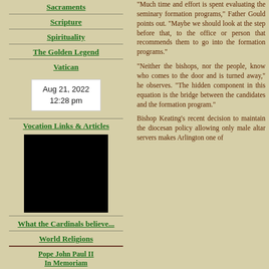Sacraments
Scripture
Spirituality
The Golden Legend
Vatican
Aug 21, 2022
12:28 pm
Vocation Links & Articles
[Figure (photo): Black image/photo block]
What the Cardinals believe...
World Religions
Pope John Paul II In Memoriam
"Much time and effort is spent evaluating the seminary formation programs," Father Gould points out. "Maybe we should look at the step before that, to the office or person that recommends them to go into the formation programs."
"Neither the bishops, nor the people, know who comes to the door and is turned away," he observes. "The hidden component in this equation is the bridge between the candidates and the formation program."
Bishop Keating's recent decision to maintain the diocesan policy allowing only male altar servers makes Arlington one of